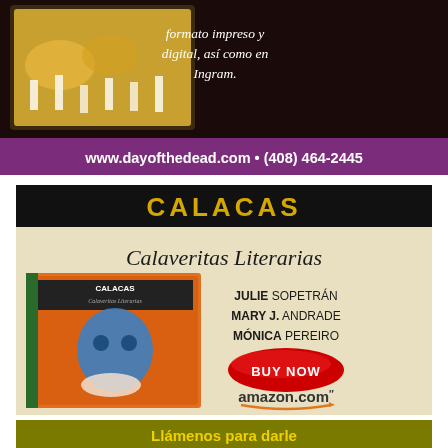[Figure (infographic): Top advertisement banner with dark purple/maroon background showing an image of flowers/offerings on the left, italic text 'formato impreso y digital, así como en Ingram.' on the right, and a purple bar at the bottom with white bold text 'www.dayofthedead.com • (408) 464-2445']
[Figure (infographic): Book advertisement for CALACAS Calaveritas Literarias. Black header with gold text 'CALACAS'. Cream/beige background with gothic font 'Calaveritas Literarias'. Book cover image on left. Authors listed: JULIE SOPETRÁN, MARY J. ANDRADE, MÓNICA PEREIRO. Red oval BUY NOW button. amazon.com logo with orange smile arrow.]
[Figure (infographic): Bottom partial advertisement with olive/dark yellow-green background and yellow text beginning 'Llámenos para darle']